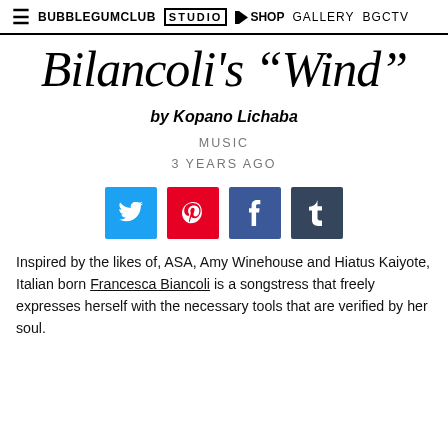≡ BUBBLEGUMCLUB STUDIO SHOP GALLERY BGCTV
Bilancoli's "Wind"
by Kopano Lichaba
MUSIC
3 YEARS AGO
[Figure (infographic): Four social media share buttons: Twitter (blue), Pinterest (red), Facebook (dark blue), Tumblr (dark blue-grey)]
Inspired by the likes of, ASA, Amy Winehouse and Hiatus Kaiyote, Italian born Francesca Biancoli is a songstress that freely expresses herself with the necessary tools that are verified by her soul.